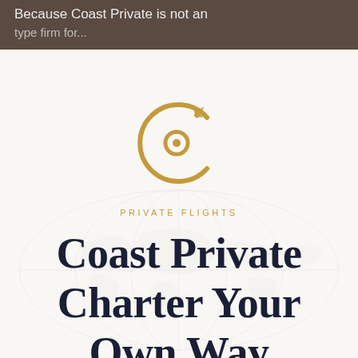Because Coast Private is not an
type firms for...
[Figure (logo): Coast Private logo: a golden circular compass/airplane icon in gold (#c49a3c)]
PRIVATE FLIGHTS
Coast Private Charter Your Own Way